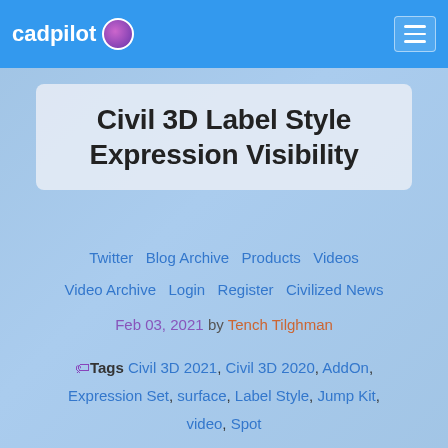cadpilot
Civil 3D Label Style Expression Visibility
Twitter  Blog Archive  Products  Videos  Video Archive  Login  Register  Civilized News
Feb 03, 2021 by Tench Tilghman
Tags Civil 3D 2021, Civil 3D 2020, AddOn, Expression Set, surface, Label Style, Jump Kit, video, Spot
Home | Blog | Civil 3D Label Style Expression Visibility